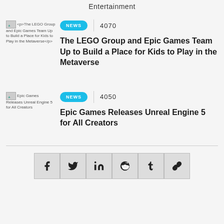Entertainment
[Figure (other): Thumbnail image placeholder for LEGO Group and Epic Games article]
<p>The LEGO Group and Epic Games Team Up to Build a Place for Kids to Play in the Metaverse</p>
NEWS | 4070
The LEGO Group and Epic Games Team Up to Build a Place for Kids to Play in the Metaverse
[Figure (other): Thumbnail image placeholder for Epic Games Unreal Engine 5 article]
Epic Games Releases Unreal Engine 5 for All Creators
NEWS | 4050
Epic Games Releases Unreal Engine 5 for All Creators
Share buttons: Facebook, Twitter, LinkedIn, Reddit, Tumblr, Link